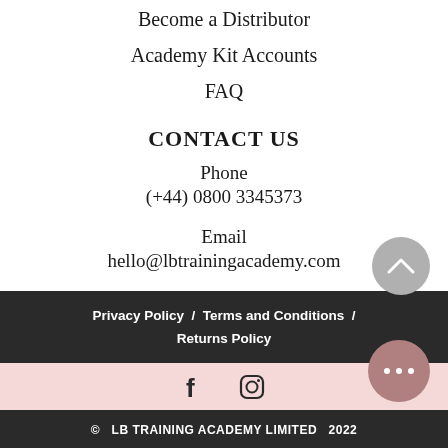Become a Distributor
Academy Kit Accounts
FAQ
CONTACT US
Phone
(+44) 0800 3345373
Email
hello@lbtrainingacademy.com
Privacy Policy  /  Terms and Conditions  /  Returns Policy
© LB TRAINING ACADEMY LIMITED 2022